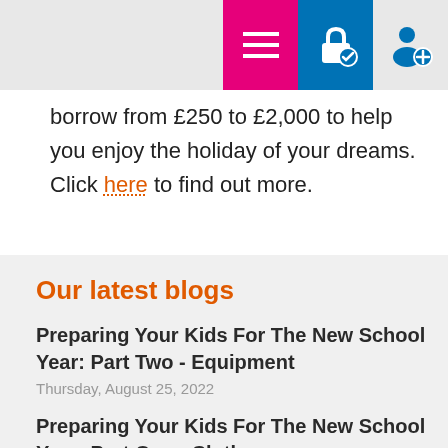[Navigation bar with menu, secure login, and account icons]
borrow from £250 to £2,000 to help you enjoy the holiday of your dreams. Click here to find out more.
Our latest blogs
Preparing Your Kids For The New School Year: Part Two - Equipment
Thursday, August 25, 2022
Preparing Your Kids For The New School Year: Part One - Clothes
Wednesday, August 24, 2022